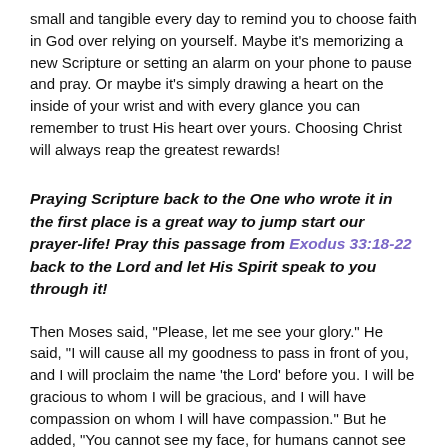small and tangible every day to remind you to choose faith in God over relying on yourself. Maybe it’s memorizing a new Scripture or setting an alarm on your phone to pause and pray. Or maybe it’s simply drawing a heart on the inside of your wrist and with every glance you can remember to trust His heart over yours. Choosing Christ will always reap the greatest rewards!
Praying Scripture back to the One who wrote it in the first place is a great way to jump start our prayer-life! Pray this passage from Exodus 33:18-22 back to the Lord and let His Spirit speak to you through it!
Then Moses said, “Please, let me see your glory.” He said, “I will cause all my goodness to pass in front of you, and I will proclaim the name ‘the Lord’ before you. I will be gracious to whom I will be gracious, and I will have compassion on whom I will have compassion.” But he added, “You cannot see my face, for humans cannot see me and live.” The Lord said, “Here is a place near me. You are to stand on the rock, and when my glory